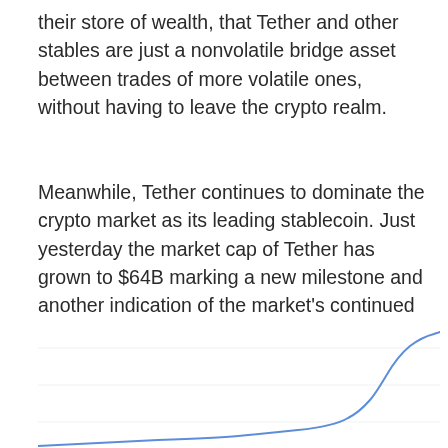their store of wealth, that Tether and other stables are just a nonvolatile bridge asset between trades of more volatile ones, without having to leave the crypto realm.
Meanwhile, Tether continues to dominate the crypto market as its leading stablecoin. Just yesterday the market cap of Tether has grown to $64B marking a new milestone and another indication of the market's continued trust and confidence in Tether.
[Figure (continuous-plot): Line chart showing Market Cap USDT from TradingView/CRYPTOCAP. The chart shows a line starting low on the left, rising steeply on the right side toward approximately $64B, with a sharp upward curve.]